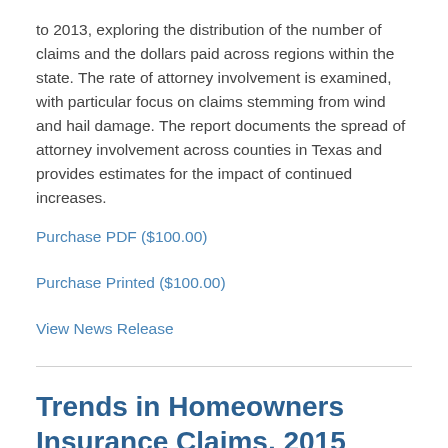to 2013, exploring the distribution of the number of claims and the dollars paid across regions within the state. The rate of attorney involvement is examined, with particular focus on claims stemming from wind and hail damage. The report documents the spread of attorney involvement across counties in Texas and provides estimates for the impact of continued increases.
Purchase PDF ($100.00)
Purchase Printed ($100.00)
View News Release
Trends in Homeowners Insurance Claims, 2015 Edition